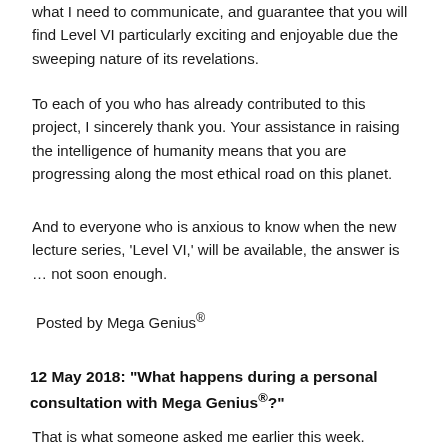what I need to communicate, and guarantee that you will find Level VI particularly exciting and enjoyable due the sweeping nature of its revelations.
To each of you who has already contributed to this project, I sincerely thank you. Your assistance in raising the intelligence of humanity means that you are progressing along the most ethical road on this planet.
And to everyone who is anxious to know when the new lecture series, 'Level VI,' will be available, the answer is … not soon enough.
Posted by Mega Genius®
12 May 2018: "What happens during a personal consultation with Mega Genius®?"
That is what someone asked me earlier this week.